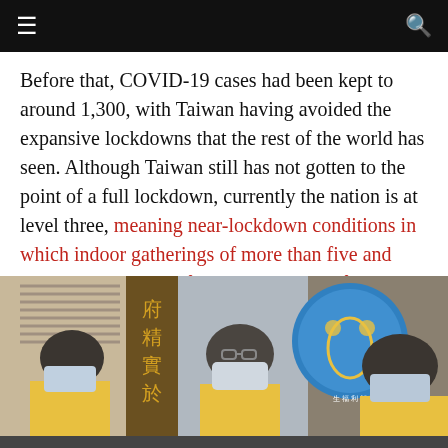≡  🔍
Before that, COVID-19 cases had been kept to around 1,300, with Taiwan having avoided the expansive lockdowns that the rest of the world has seen. Although Taiwan still has not gotten to the point of a full lockdown, currently the nation is at level three, meaning near-lockdown conditions in which indoor gatherings of more than five and outdoor gatherings of more than ten are forbidden—though businesses are allowed to keep operating.
[Figure (photo): Photo of three masked officials in yellow vests seated at a table in front of a government sign with Chinese characters and a circular Ministry of Health and Welfare logo.]